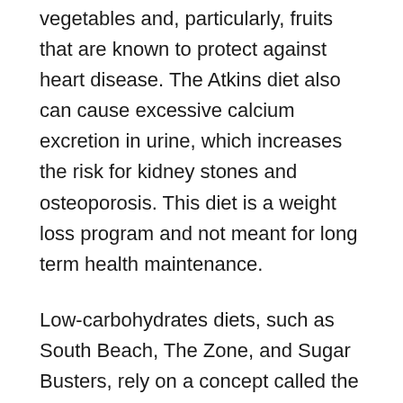vegetables and, particularly, fruits that are known to protect against heart disease. The Atkins diet also can cause excessive calcium excretion in urine, which increases the risk for kidney stones and osteoporosis. This diet is a weight loss program and not meant for long term health maintenance.
Low-carbohydrates diets, such as South Beach, The Zone, and Sugar Busters, rely on a concept called the "glycemic index," or GI, which ranks foods by how fast and how high they cause blood sugar levels to rise. Foods on the lowest end of the index, such as whole grains, fruits, beans, and non-starchy vegetables, take longer to digest may stabilize insulin levels. Foods high on the glycemic index include white bread, white potatoes, and pasta. However, some research suggests that glycemic index may not have much impact on heart health. According to the Academy of Nutrition and Dietetics, low GI diets are not recommended